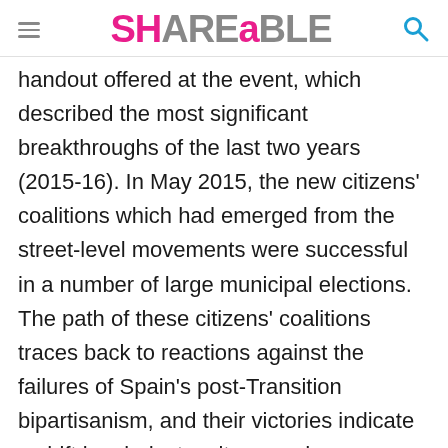SHAREABLE
handout offered at the event, which described the most significant breakthroughs of the last two years (2015-16). In May 2015, the new citizens' coalitions which had emerged from the street-level movements were successful in a number of large municipal elections. The path of these citizens' coalitions traces back to reactions against the failures of Spain's post-Transition bipartisanism, and their victories indicate a shift in mindset, culture, and power. These new, municipalist "non-parties" are